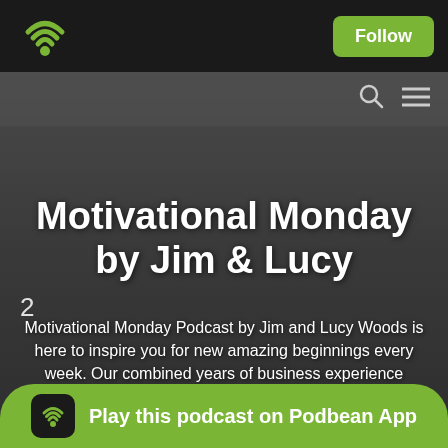[Figure (screenshot): Podbean podcast app screenshot showing top navigation bar with Podbean logo and Follow button]
Motivational Monday by Jim & Lucy
Motivational Monday Podcast by Jim and Lucy Woods is here to inspire you for new amazing beginnings every week. Our combined years of business experience combined with tools for productivity improvements and career change are here to simply amazing...
Play this podcast on Podbean App